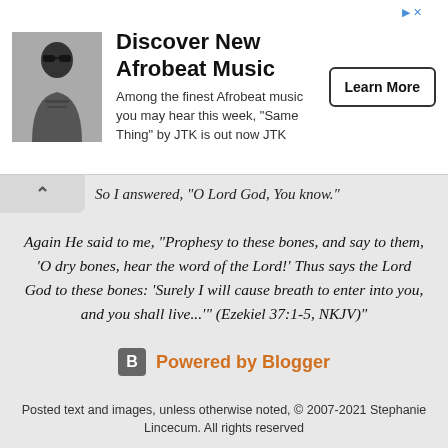[Figure (infographic): Advertisement banner for Afrobeat music with photo of artist, title 'Discover New Afrobeat Music', description text, and 'Learn More' button]
So I answered, "O Lord God, You know."
Again He said to me, "Prophesy to these bones, and say to them, 'O dry bones, hear the word of the Lord!' Thus says the Lord God to these bones: 'Surely I will cause breath to enter into you, and you shall live...'" (Ezekiel 37:1-5, NKJV)"
[Figure (logo): Powered by Blogger logo and text]
Posted text and images, unless otherwise noted, © 2007-2021 Stephanie Lincecum. All rights reserved